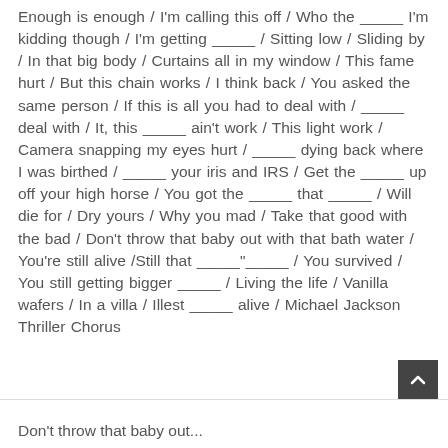Enough is enough / I'm calling this off / Who the _____ I'm kidding though / I'm getting _____ / Sitting low / Sliding by / In that big body / Curtains all in my window / This fame hurt / But this chain works / I think back / You asked the same person / If this is all you had to deal with / _____ deal with / It, this _____ ain't work / This light work / Camera snapping my eyes hurt / _____ dying back where I was birthed / _____ your iris and IRS / Get the _____ up off your high horse / You got the _____ that _____ / Will die for / Dry yours / Why you mad / Take that good with the bad / Don't throw that baby out with that bath water / You're still alive /Still that _____"_____ / You survived / You still getting bigger _____ / Living the life / Vanilla wafers / In a villa / Illest _____ alive / Michael Jackson Thriller Chorus
Don't throw that baby out...